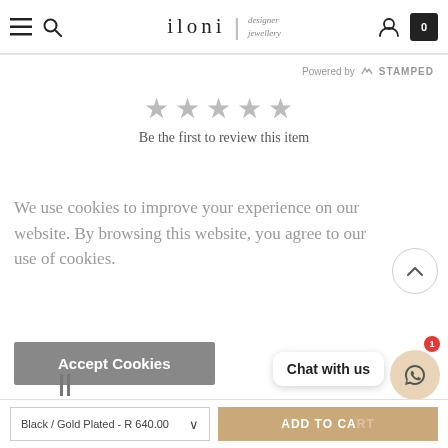iloni | designer jewellery
Powered by STAMPED
[Figure (other): Five empty grey star rating icons]
Be the first to review this item
We use cookies to improve your experience on our website. By browsing this website, you agree to our use of cookies.
Accept Cookies
Chat with us
Black / Gold Plated - R 640.00
ADD TO CART